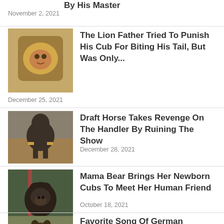By His Master
November 2, 2021
[Figure (photo): Lion with thick mane]
The Lion Father Tried To Punish His Cub For Biting His Tail, But Was Only...
December 25, 2021
[Figure (photo): Draft horse in arena]
Draft Horse Takes Revenge On The Handler By Ruining The Show
December 28, 2021
[Figure (photo): Bear at window]
Mama Bear Brings Her Newborn Cubs To Meet Her Human Friend
October 18, 2021
[Figure (photo): German Shepherd in car]
Favorite Song Of German Shepherd Plays On Radio – His Dance Moves Are Masterly